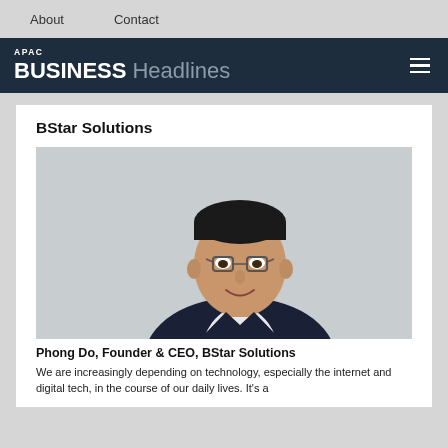About   Contact
APAC BUSINESS Headlines
BStar Solutions
[Figure (photo): Portrait photo of Phong Do, Founder & CEO of BStar Solutions, a middle-aged Asian man wearing glasses and a dark suit with a white shirt, smiling, against a light grey background.]
Phong Do, Founder & CEO, BStar Solutions
We are increasingly depending on technology, especially the internet and digital tech, in the course of our daily lives. It's a